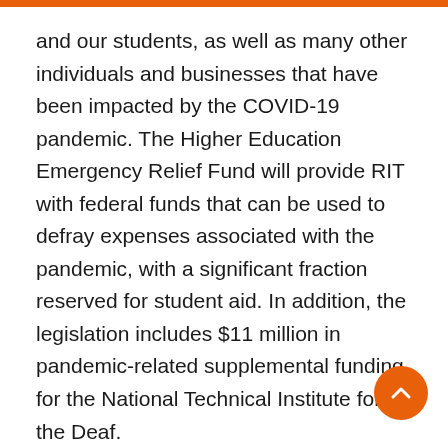and our students, as well as many other individuals and businesses that have been impacted by the COVID-19 pandemic. The Higher Education Emergency Relief Fund will provide RIT with federal funds that can be used to defray expenses associated with the pandemic, with a significant fraction reserved for student aid. In addition, the legislation includes $11 million in pandemic-related supplemental funding for the National Technical Institute for the Deaf.
Congress also passed the FY 2021 omnibus appropriations bill, which includes increases in funding for federal student financial aid programs. Of notable importance is an increase of $150 in the maximum Pell Grant award and expanded Pell Grant eligibility, as well as increased funding for Supplemental Educational